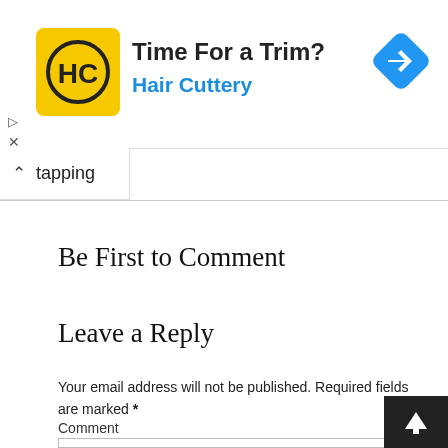[Figure (screenshot): Hair Cuttery advertisement banner with yellow logo, bold text 'Time For a Trim?' and 'Hair Cuttery' in blue, blue diamond arrow icon on right]
tapping
Be First to Comment
Leave a Reply
Your email address will not be published. Required fields are marked *
Comment